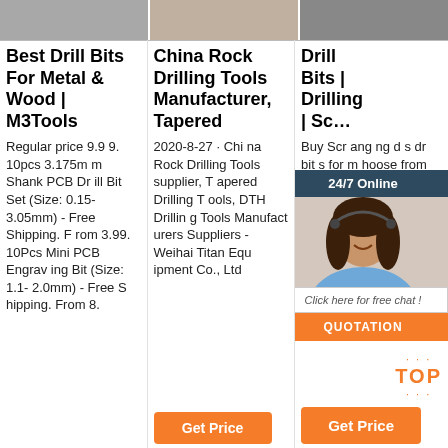[Figure (photo): Top strip with three product images side by side]
Best Drill Bits For Metal & Wood | M3Tools
China Rock Drilling Tools Manufacturer, Tapered
Drill Bits | Drilling | Sc…
Regular price 9.99. 10pcs 3.175mm Shank PCB Drill Bit Set (Size: 0.15-3.05mm) - Free Shipping. From 3.99. 10Pcs Mini PCB Engraving Bit (Size: 1.1-2.0mm) - Free Shipping. From 8.
2020-8-27 · China Rock Drilling Tools supplier, Tapered Drilling Tools, DTH Drilling Tools Manufacturers Suppliers - Weihai Titan Equipment Co., Ltd
Buy… Scr… ang… ng d… s dr… bit s… for m… hoose from top trade brands.
[Figure (photo): 24/7 Online chat widget with female customer service agent photo, Click here for free chat text, and QUOTATION button]
Get Price
Get Price